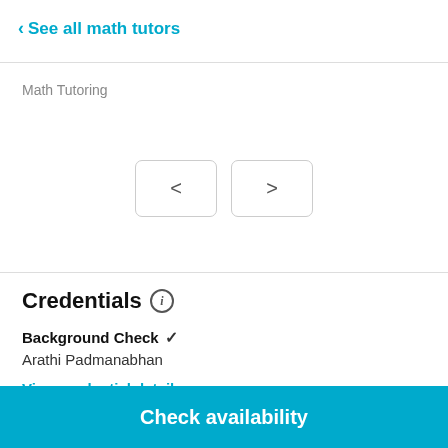< See all math tutors
Math Tutoring
[Figure (other): Navigation buttons with left and right arrows for browsing]
Credentials (i)
Background Check ✓
Arathi Padmanabhan
View credential details
Check availability